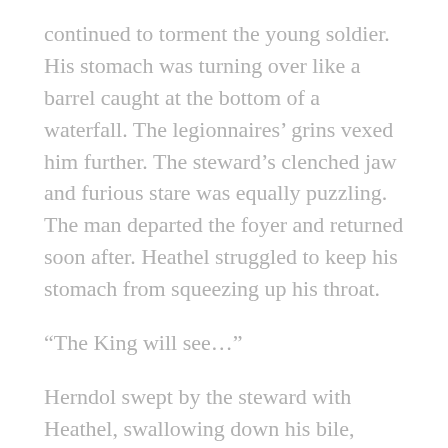continued to torment the young soldier. His stomach was turning over like a barrel caught at the bottom of a waterfall. The legionnaires' grins vexed him further. The steward's clenched jaw and furious stare was equally puzzling. The man departed the foyer and returned soon after. Heathel struggled to keep his stomach from squeezing up his throat.
“The King will see…”
Herndol swept by the steward with Heathel, swallowing down his bile, keeping at his commander’s heels. They passed through a temporary war chamber, crowded with noblemen and officers pouring over maps spread across a table as broad as a wagon bed. Some cautious glances took in the Assembler’s stony demeanor while an older knight wished Herndol a